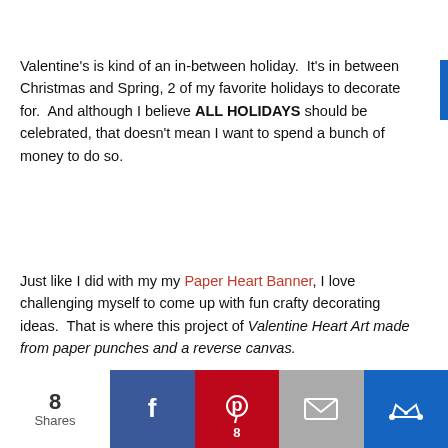Valentine's is kind of an in-between holiday.  It's in between Christmas and Spring, 2 of my favorite holidays to decorate for.  And although I believe ALL HOLIDAYS should be celebrated, that doesn't mean I want to spend a bunch of money to do so.
Just like I did with my my Paper Heart Banner, I love challenging myself to come up with fun crafty decorating ideas.  That is where this project of Valentine Heart Art made from paper punches and a reverse canvas.
How to Make a Valentine Heart Art
[Figure (infographic): Social sharing bar showing 8 Shares, Facebook button, Pinterest button with count 8, Email button, and a crown/bookmark button]